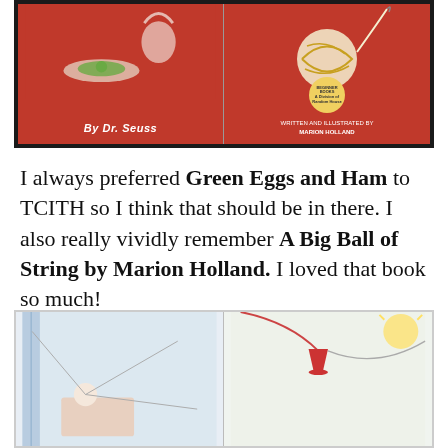[Figure (photo): Two children's book covers side by side: left is 'Green Eggs and Ham by Dr. Seuss' with orange/red background and Seuss illustration; right is 'A Big Ball of String' by Marion Holland with red background and a ball of string illustration and Beginner Books badge.]
I always preferred Green Eggs and Ham to TCITH so I think that should be in there. I also really vividly remember A Big Ball of String by Marion Holland. I loved that book so much!
[Figure (photo): Interior pages from A Big Ball of String by Marion Holland. Left page shows a child in bed with string connected to various objects: 'I can look at my book! I can shoot with my gun! I make my bell ring! I can make my train run!' Right page shows the string going out a window with 'Look, Mother! Look, Mother! LOOK, MOTHER!' I said. 'Come and look,' shown in text.]